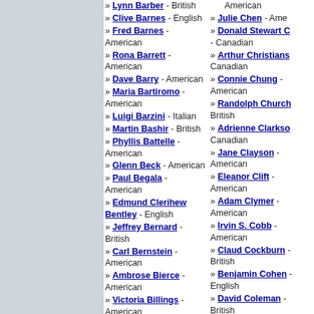» Lynn Barber - British
» Clive Barnes - English
» Fred Barnes - American
» Rona Barrett - American
» Dave Barry - American
» Maria Bartiromo - American
» Luigi Barzini - Italian
» Martin Bashir - British
» Phyllis Battelle - American
» Glenn Beck - American
» Paul Begala - American
» Edmund Clerihew Bentley - English
» Jeffrey Bernard - British
» Carl Bernstein - American
» Ambrose Bierce - American
» Victoria Billings - American
» Jim Bishop - American
» Alice Stone Blackwell - American
» Jayson Blair -
» Julie Chen - American
» Donald Stewart C - Canadian
» Arthur Christians - Canadian
» Connie Chung - American
» Randolph Church - British
» Adrienne Clarkso - Canadian
» Jane Clayson - American
» Eleanor Clift - American
» Adam Clymer - American
» Irvin S. Cobb - American
» Claud Cockburn - British
» Benjamin Cohen - English
» David Coleman - British
» Alan Colmes - American
» Cyril Connolly - English